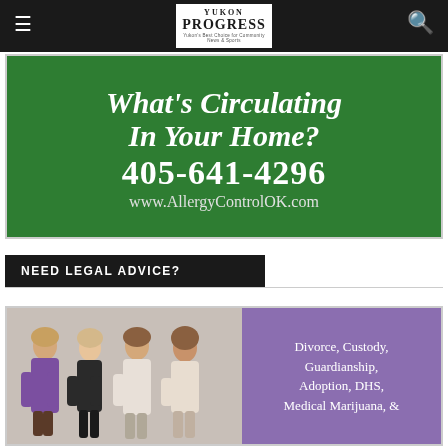Yukon Progress — navigation bar with hamburger menu icon, logo, and search icon
[Figure (infographic): Green advertisement banner reading: What's Circulating In Your Home? 405-641-4296 www.AllergyControlOK.com]
NEED LEGAL ADVICE?
[Figure (photo): Law firm advertisement with photo of four women attorneys on left and purple panel on right reading: Divorce, Custody, Guardianship, Adoption, DHS, Medical Marijuana, &]